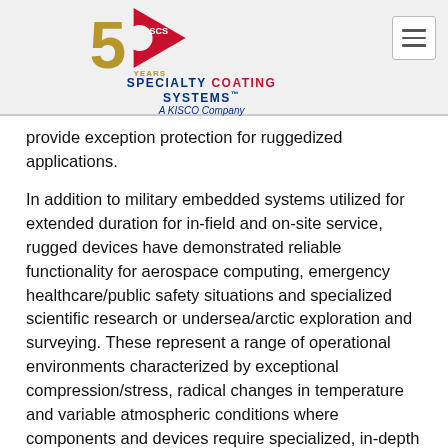[Figure (logo): Specialty Coating Systems 50 Years logo with red pennant/flag containing 'SCS' text, gold '50', and 'YEARS' text below. Company name 'SPECIALTY COATING SYSTEMS™' in blue with 'A KISCO Company' in italic blue below.]
provide exception protection for ruggedized applications.
In addition to military embedded systems utilized for extended duration for in-field and on-site service, rugged devices have demonstrated reliable functionality for aerospace computing, emergency healthcare/public safety situations and specialized scientific research or undersea/arctic exploration and surveying. These represent a range of operational environments characterized by exceptional compression/stress, radical changes in temperature and variable atmospheric conditions where components and devices require specialized, in-depth protection. The resistance to harsh working environments provided by Parylene conformal coatings supports functionality where unprotected devices